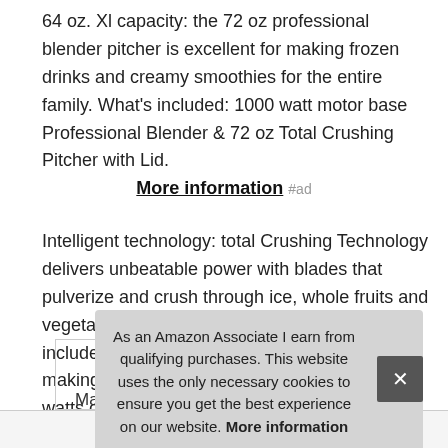64 oz. Xl capacity: the 72 oz professional blender pitcher is excellent for making frozen drinks and creamy smoothies for the entire family. What's included: 1000 watt motor base Professional Blender & 72 oz Total Crushing Pitcher with Lid.
More information #ad
Intelligent technology: total Crushing Technology delivers unbeatable power with blades that pulverize and crush through ice, whole fruits and vegetables in seconds. Recipe inspiration: The included recipe guide provides drink and dish making inspiration. Professional power: 1000 watts of professional power can crush ice and breakdown any tough ingredient.
As an Amazon Associate I earn from qualifying purchases. This website uses the only necessary cookies to ensure you get the best experience on our website. More information
|  |  |
| --- | --- |
| Ma |  |
| Height | 17 Inches |